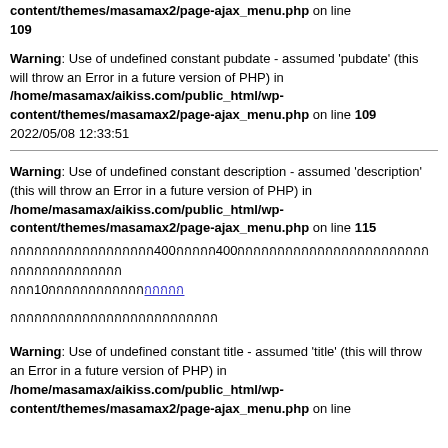content/themes/masamax2/page-ajax_menu.php on line 109
Warning: Use of undefined constant pubdate - assumed 'pubdate' (this will throw an Error in a future version of PHP) in /home/masamax/aikiss.com/public_html/wp-content/themes/masamax2/page-ajax_menu.php on line 109
2022/05/08 12:33:51
Warning: Use of undefined constant description - assumed 'description' (this will throw an Error in a future version of PHP) in /home/masamax/aikiss.com/public_html/wp-content/themes/masamax2/page-ajax_menu.php on line 115
Thai text content with link
Thai text paragraph
Warning: Use of undefined constant title - assumed 'title' (this will throw an Error in a future version of PHP) in /home/masamax/aikiss.com/public_html/wp-content/themes/masamax2/page-ajax_menu.php on line